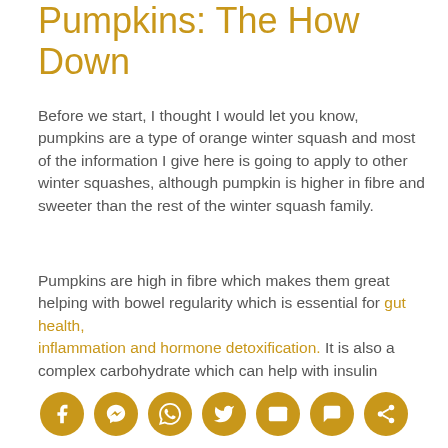Pumpkins: The How Down
Before we start, I thought I would let you know, pumpkins are a type of orange winter squash and most of the information I give here is going to apply to other winter squashes, although pumpkin is higher in fibre and sweeter than the rest of the winter squash family.
Pumpkins are high in fibre which makes them great helping with bowel regularity which is essential for gut health, inflammation and hormone detoxification.  It is also a complex carbohydrate which can help with insulin regulation for those of you with blood sugar
Social share icons: Facebook, Messenger, WhatsApp, Twitter, Email, Comment, Share